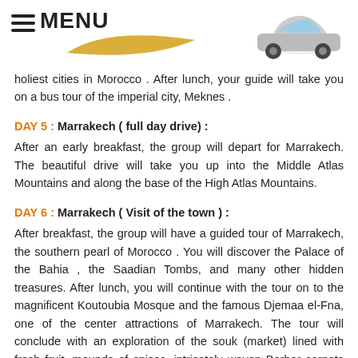MENU
holiest cities in Morocco . After lunch, your guide will take you on a bus tour of the imperial city, Meknes .
DAY 5 : Marrakech ( full day drive) :
After an early breakfast, the group will depart for Marrakech. The beautiful drive will take you up into the Middle Atlas Mountains and along the base of the High Atlas Mountains.
DAY 6 : Marrakech ( Visit of the town ) :
After breakfast, the group will have a guided tour of Marrakech, the southern pearl of Morocco . You will discover the Palace of the Bahia , the Saadian Tombs, and many other hidden treasures. After lunch, you will continue with the tour on to the magnificent Koutoubia Mosque and the famous Djemaa el-Fna, one of the center attractions of Marrakech. The tour will conclude with an exploration of the souk (market) lined with fresh fruit, mounds of spices, intricately woven Berber carpets and many other art objects of Morocco . Dinner will be served in the hotel.Once in Marrakech, you will check into your hotel and then head off to the Djemaa el-Fna, the center square of the medina. The famous